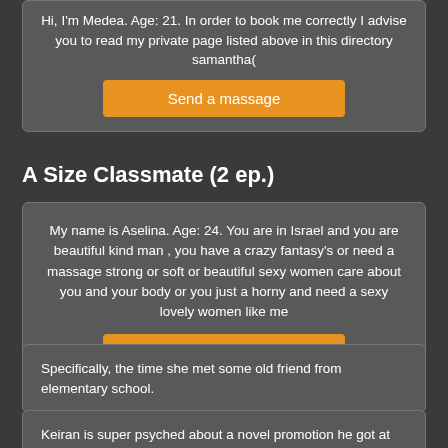Hi, I'm Medea. Age: 21. In order to book me correctly I advise you to read my private page listed above in this directory samantha(
Send a massage
A Size Classmate (2 ep.)
My name is Aselina. Age: 24. You are in Israel and you are beautiful kind man , you have a crazy fantasy's or need a massage strong or soft or beautiful sexy women care about you and your body or you just a horny and need a sexy lovely women like me
More girls
Specifically, the time she met some old friend from elementary school.
Keiran is super psyched about a novel promotion he got at pieceofwork, but he